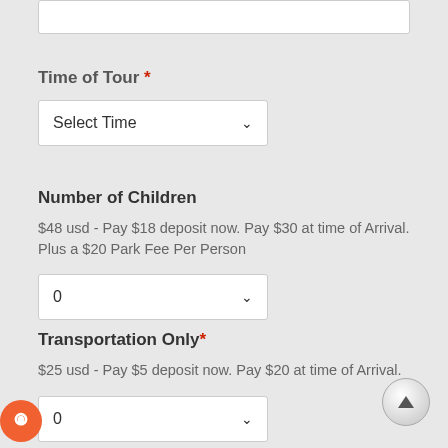Time of Tour *
[Figure (screenshot): Dropdown selector showing 'Select Time' with a down arrow]
Number of Children
$48 usd - Pay $18 deposit now. Pay $30 at time of Arrival. Plus a $20 Park Fee Per Person
[Figure (screenshot): Dropdown selector showing '0' with a down arrow]
Transportation Only *
$25 usd - Pay $5 deposit now. Pay $20 at time of Arrival.
[Figure (screenshot): Dropdown selector showing '0' with a down arrow]